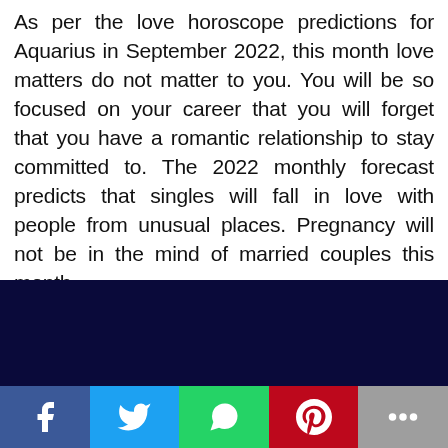As per the love horoscope predictions for Aquarius in September 2022, this month love matters do not matter to you. You will be so focused on your career that you will forget that you have a romantic relationship to stay committed to. The 2022 monthly forecast predicts that singles will fall in love with people from unusual places. Pregnancy will not be in the mind of married couples this month.
[Figure (illustration): Aquarius zodiac illustration showing a robed figure holding a golden urn/jug, surrounded by a circular zodiac wheel with astrological symbols, set against a dark blue cosmic/space background with planets and stars.]
[Figure (infographic): Social media sharing bar with five buttons: Facebook (blue), Twitter (cyan), WhatsApp (green), Pinterest (red), More/ellipsis (grey).]